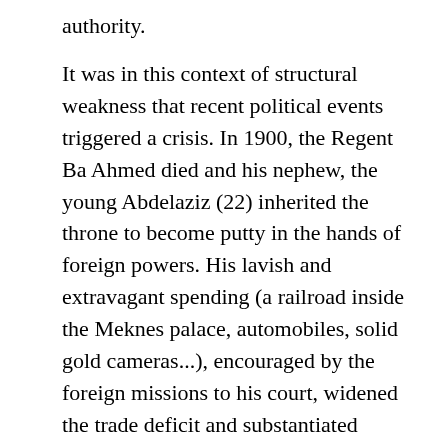authority.
It was in this context of structural weakness that recent political events triggered a crisis. In 1900, the Regent Ba Ahmed died and his nephew, the young Abdelaziz (22) inherited the throne to become putty in the hands of foreign powers. His lavish and extravagant spending (a railroad inside the Meknes palace, automobiles, solid gold cameras...), encouraged by the foreign missions to his court, widened the trade deficit and substantiated accusations of godlessness aimed at the young monarch. Worse still, the reform of the tertib (taxation), carried